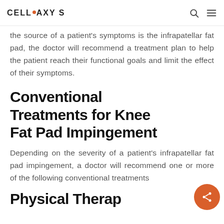CELL•AXY S
the source of a patient's symptoms is the infrapatellar fat pad, the doctor will recommend a treatment plan to help the patient reach their functional goals and limit the effect of their symptoms.
Conventional Treatments for Knee Fat Pad Impingement
Depending on the severity of a patient's infrapatellar fat pad impingement, a doctor will recommend one or more of the following conventional treatments
Physical Therapy